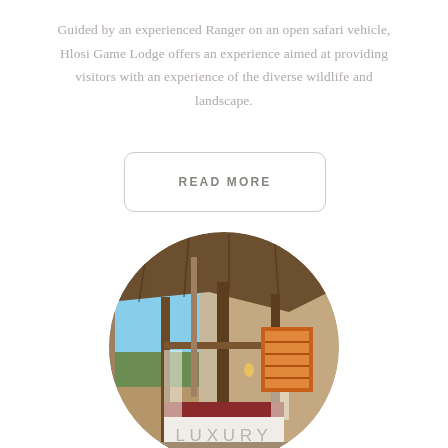Guided by an experienced Ranger on an open safari vehicle, Hlosi Game Lodge offers an experience aimed at providing visitors with an experience of the diverse wildlife and landscape.
READ MORE
[Figure (photo): Circular cropped photo of a luxury safari lodge bedroom interior with a four-poster bed with a red and white bedspread, thatched roof, wooden beams, sheer curtains, and a view of the African bush landscape through open glass doors on the left and an orange-framed window on the right.]
LUXURY